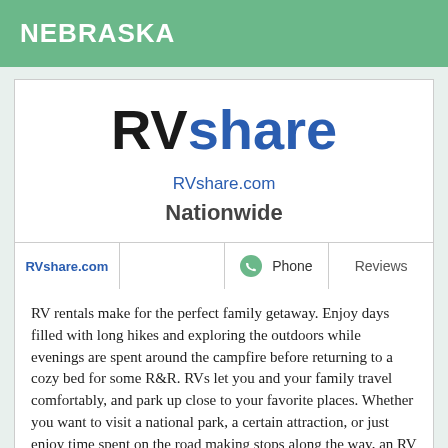NEBRASKA
[Figure (logo): RVshare logo with 'RV' in black bold and 'share' in blue bold]
RVshare.com
Nationwide
| RVshare.com |  | Phone | Reviews |
| --- | --- | --- | --- |
|  |
RV rentals make for the perfect family getaway. Enjoy days filled with long hikes and exploring the outdoors while evenings are spent around the campfire before returning to a cozy bed for some R&R. RVs let you and your family travel comfortably, and park up close to your favorite places. Whether you want to visit a national park, a certain attraction, or just enjoy time spent on the road making stops along the way, an RV from RVshare is the perfect option for your next vacation. Enjoy peace of mind when you rent an RV from RVshare with its more on 24/7 roadside assistance and...